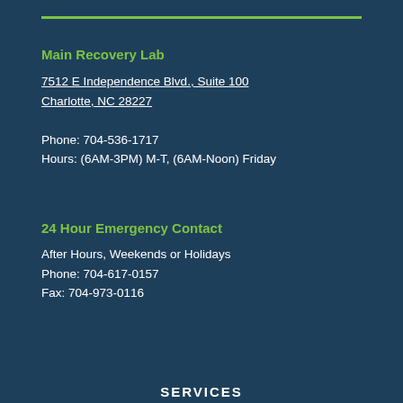Main Recovery Lab
7512 E Independence Blvd., Suite 100
Charlotte, NC 28227

Phone: 704-536-1717
Hours: (6AM-3PM) M-T, (6AM-Noon) Friday
24 Hour Emergency Contact
After Hours, Weekends or Holidays
Phone: 704-617-0157
Fax: 704-973-0116
SERVICES